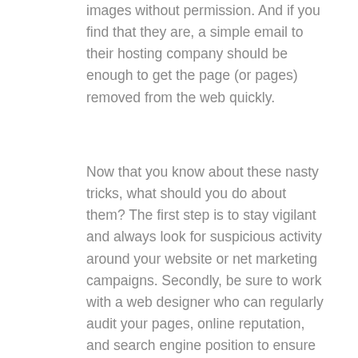images without permission. And if you find that they are, a simple email to their hosting company should be enough to get the page (or pages) removed from the web quickly.
Now that you know about these nasty tricks, what should you do about them? The first step is to stay vigilant and always look for suspicious activity around your website or net marketing campaigns. Secondly, be sure to work with a web designer who can regularly audit your pages, online reputation, and search engine position to ensure nothing bad is happening behind-the-scenes.